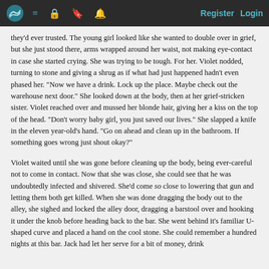Register  Login
they'd ever trusted. The young girl looked like she wanted to double over in grief, but she just stood there, arms wrapped around her waist, not making eye-contact in case she started crying. She was trying to be tough. For her. Violet nodded, turning to stone and giving a shrug as if what had just happened hadn't even phased her. "Now we have a drink. Lock up the place. Maybe check out the warehouse next door." She looked down at the body, then at her grief-stricken sister. Violet reached over and mussed her blonde hair, giving her a kiss on the top of the head. "Don't worry baby girl, you just saved our lives." She slapped a knife in the eleven year-old's hand. "Go on ahead and clean up in the bathroom. If something goes wrong just shout okay?"
Violet waited until she was gone before cleaning up the body, being ever-careful not to come in contact. Now that she was close, she could see that he was undoubtedly infected and shivered. She'd come so close to lowering that gun and letting them both get killed. When she was done dragging the body out to the alley, she sighed and locked the alley door, dragging a barstool over and hooking it under the knob before heading back to the bar. She went behind it's familiar U-shaped curve and placed a hand on the cool stone. She could remember a hundred nights at this bar. Jack had let her serve for a bit of money, drink